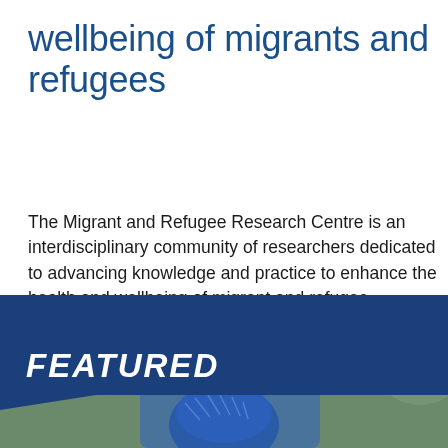Promoting the health and wellbeing of migrants and refugees
The Migrant and Refugee Research Centre is an interdisciplinary community of researchers dedicated to advancing knowledge and practice to enhance the health and wellbeing of migrant and refugee populations living in Aotearoa New Zealand, and globally.
[Figure (photo): Featured banner with dark blue background and diagonal graphic overlay. Bold italic white text reads FEATURED. Below the banner a photo of a person wearing a blue patterned head covering is partially visible.]